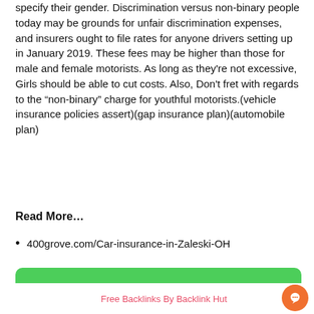specify their gender. Discrimination versus non-binary people today may be grounds for unfair discrimination expenses, and insurers ought to file rates for anyone drivers setting up in January 2019. These fees may be higher than those for male and female motorists. As long as they're not excessive, Girls should be able to cut costs. Also, Don't fret with regards to the “non-binary” charge for youthful motorists.(vehicle insurance policies assert)(gap insurance plan)(automobile plan)
Read More…
400grove.com/Car-insurance-in-Zaleski-OH
Car insurance in Zanesfield, OH
Free Backlinks By Backlink Hut